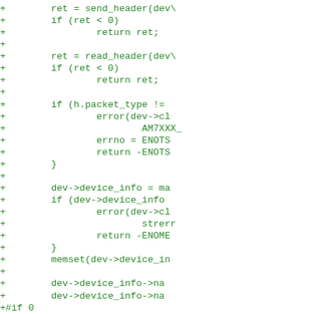Code diff showing C source additions with git diff format, including send_header, read_header, packet_type check, device_info allocation, memset, device_info fields, and conditional compilation blocks